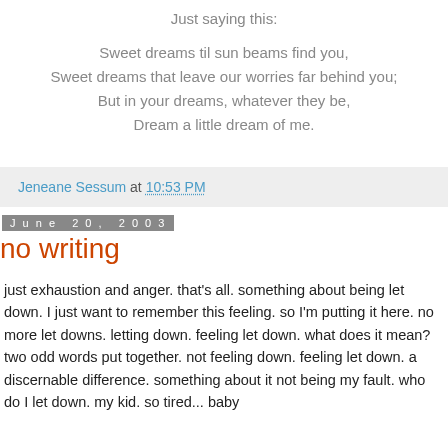Just saying this:
Sweet dreams til sun beams find you,
Sweet dreams that leave our worries far behind you;
But in your dreams, whatever they be,
Dream a little dream of me.
Jeneane Sessum at 10:53 PM
June 20, 2003
no writing
just exhaustion and anger. that's all. something about being let down. I just want to remember this feeling. so I'm putting it here. no more let downs. letting down. feeling let down. what does it mean? two odd words put together. not feeling down. feeling let down. a discernable difference. something about it not being my fault. who do I let down. my kid. so tired... baby